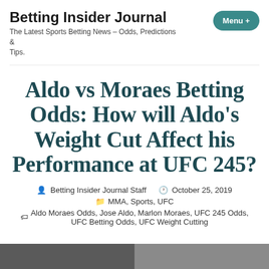Betting Insider Journal
The Latest Sports Betting News - Odds, Predictions & Tips.
Aldo vs Moraes Betting Odds: How will Aldo's Weight Cut Affect his Performance at UFC 245?
Betting Insider Journal Staff  October 25, 2019  MMA, Sports, UFC  Aldo Moraes Odds, Jose Aldo, Marlon Moraes, UFC 245 Odds, UFC Betting Odds, UFC Weight Cutting
[Figure (photo): Photo strip at bottom of page showing fighters]